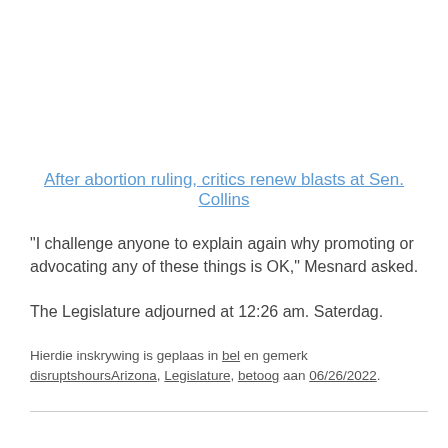After abortion ruling, critics renew blasts at Sen. Collins
“I challenge anyone to explain again why promoting or advocating any of these things is OK,” Mesnard asked.
The Legislature adjourned at 12:26 am. Saterdag.
Hierdie inskrywing is geplaas in bel en gemerk disruptshoursArizona, Legislature, betoog aan 06/26/2022.